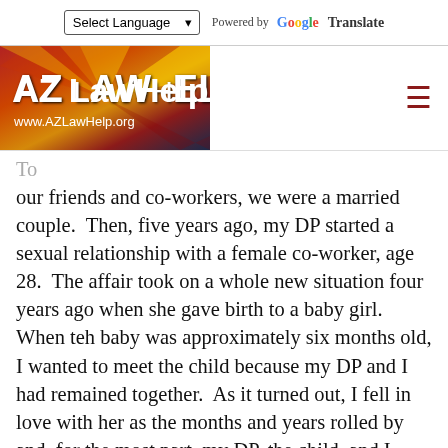Select Language | Powered by Google Translate
[Figure (logo): AZ Law Help logo with Arizona flag background, www.AZLawHelp.org]
To our friends and co-workers, we were a married couple.  Then, five years ago, my DP started a sexual relationship with a female co-worker, age 28.  The affair took on a whole new situation four years ago when she gave birth to a baby girl.  When teh baby was approximately six months old, I wanted to meet the child because my DP and I had remained together.  As it turned out, I fell in love with her as the months and years rolled by and, for the most part, my DP, the child, and I were a happy family on visiting days.  Nine weeks ago, he moved with her.  Can I ask for visitation rights?